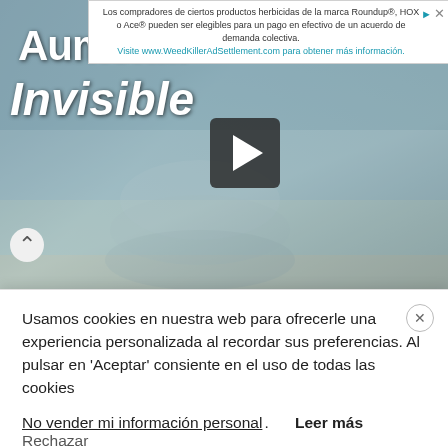[Figure (screenshot): Advertisement banner at top of page in Spanish for Roundup/HOX/Ace herbicide class action settlement, with link to WeedKillerAdSettlement.com]
[Figure (screenshot): Video thumbnail showing knitting/crochet technique titled 'Aumento Invisible' with play button, TÉCNICO badge in orange, light blue knitted fabric on wooden surface]
Usamos cookies en nuestra web para ofrecerle una experiencia personalizada al recordar sus preferencias. Al pulsar en 'Aceptar' consiente en el uso de todas las cookies
No vender mi información personal. Leer más Rechazar
Aceptar  Configuración de cookies